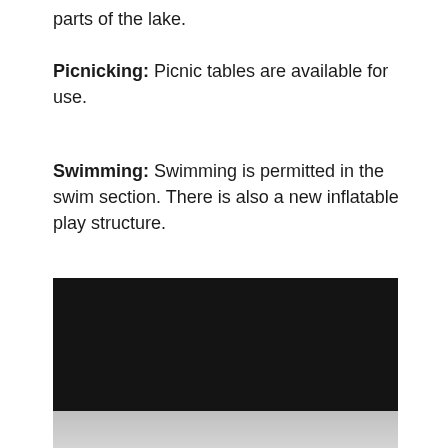parts of the lake.
Picnicking: Picnic tables are available for use.
Swimming: Swimming is permitted in the swim section. There is also a new inflatable play structure.
[Figure (photo): A dark/black rectangular image, likely a photo of a lake or outdoor area, partially visible at the bottom of the page with a light gray area below it.]